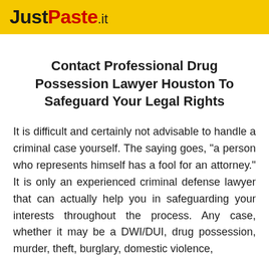JustPaste.it
Contact Professional Drug Possession Lawyer Houston To Safeguard Your Legal Rights
It is difficult and certainly not advisable to handle a criminal case yourself. The saying goes, "a person who represents himself has a fool for an attorney." It is only an experienced criminal defense lawyer that can actually help you in safeguarding your interests throughout the process. Any case, whether it may be a DWI/DUI, drug possession, murder, theft, burglary, domestic violence,